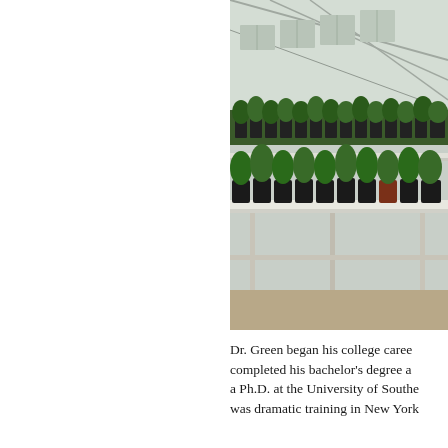[Figure (photo): A greenhouse interior showing rows of small potted plants (seedlings) in black plastic pots arranged on a metal bench/shelf. The greenhouse structure with metal framing and translucent panels is visible in the background.]
Dr. Green began his college career completed his bachelor's degree a a Ph.D. at the University of Southe was dramatic training in New York